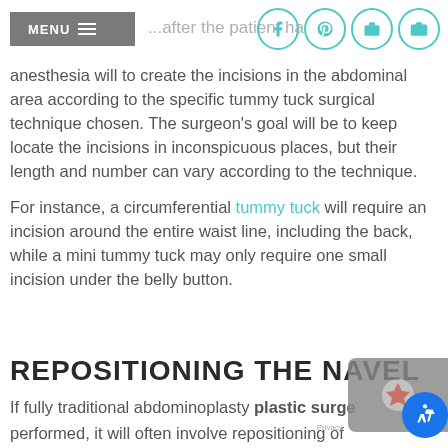MENU
anesthesia will to create the incisions in the abdominal area according to the specific tummy tuck surgical technique chosen. The surgeon's goal will be to keep locate the incisions in inconspicuous places, but their length and number can vary according to the technique.
For instance, a circumferential tummy tuck will require an incision around the entire waist line, including the back, while a mini tummy tuck may only require one small incision under the belly button.
REPOSITIONING THE NAVEL
If fully traditional abdominoplasty plastic surge performed, it will often involve repositioning of the